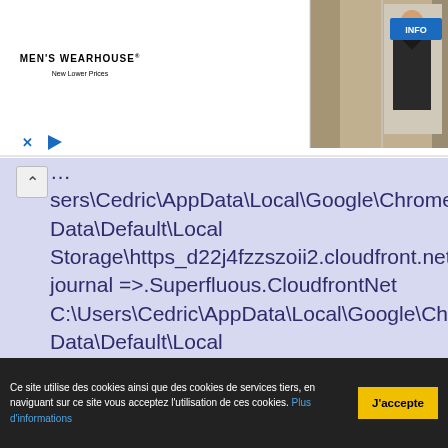[Figure (screenshot): Men's Wearhouse advertisement banner with couple in formal wear and a man in suit, with INFO button and playback controls]
...sers\Cedric\AppData\Local\Google\Chrome\User Data\Default\Local Storage\https_d22j4fzzszoii2.cloudfront.net_0.localstorage-journal =>.Superfluous.CloudfrontNet C:\Users\Cedric\AppData\Local\Google\Chrome\User Data\Default\Local Storage\https_d29g9nn7k0fl9y.cloudfront.net_0.localstorage =>.Superfluous.CloudfrontNet C:\Users\Cedric\AppData\Local\Google\Chrome\User Data\Default\Local Storage\https_d29g9nn7k0fl9y.cloudfront.net_0.localstorage-journal =>.Superfluous.CloudfrontNet C:\Users\Cedric\AppData\Local\Google\Chrome\User Data\Default\Local Storage\https_d30ke5tgu2tkyx.cloudfront.net_0.localstorage
Ce site utilise des cookies ainsi que des cookies de services tiers, en naviguant sur ce site vous acceptez l'utilisation de ces cookies. Plus d'informations